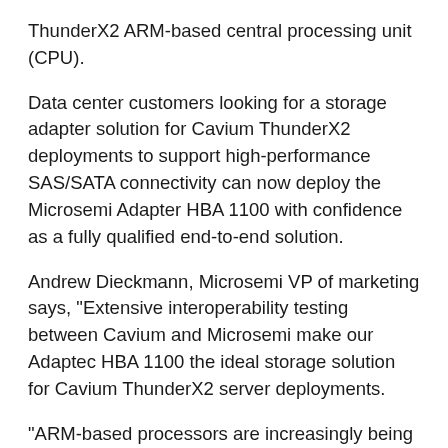ThunderX2 ARM-based central processing unit (CPU).
Data center customers looking for a storage adapter solution for Cavium ThunderX2 deployments to support high-performance SAS/SATA connectivity can now deploy the Microsemi Adapter HBA 1100 with confidence as a fully qualified end-to-end solution.
Andrew Dieckmann, Microsemi VP of marketing says, "Extensive interoperability testing between Cavium and Microsemi make our Adaptec HBA 1100 the ideal storage solution for Cavium ThunderX2 server deployments.
"ARM-based processors are increasingly being considered for next-generation server deployments in the data center due to their performance and power profile advantages for specific data center workloads."